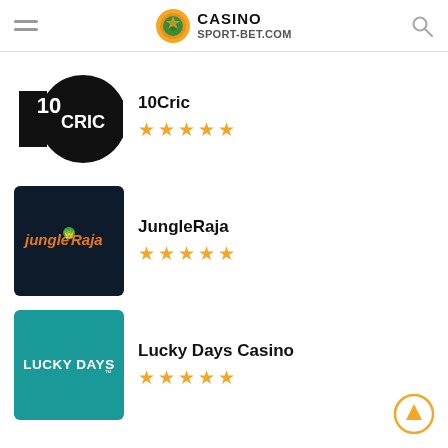CASINO SPORT-BET.COM
[Figure (logo): 10Cric casino logo - black rectangle with large black circle containing the text 10 and CRIC]
10Cric ★★★★★
[Figure (logo): JungleRaja casino logo - dark navy background with orange and green Jungle Raja text]
JungleRaja ★★★★★
[Figure (logo): Lucky Days Casino logo - teal/green background with white LUCKY DAYS text]
Lucky Days Casino ★★★★★